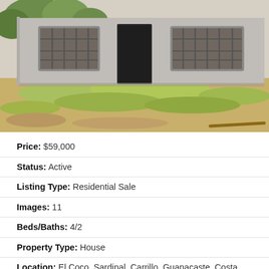[Figure (photo): Exterior photo of a single-story concrete block house with barred windows and a dark door, surrounded by dry grass and sparse trees in a sunny setting. The building appears unfinished with raw concrete walls.]
Price: $59,000
Status: Active
Listing Type: Residential Sale
Images: 11
Beds/Baths: 4/2
Property Type: House
Location: El Coco, Sardinal, Carrillo, Guanacaste, Costa Rica